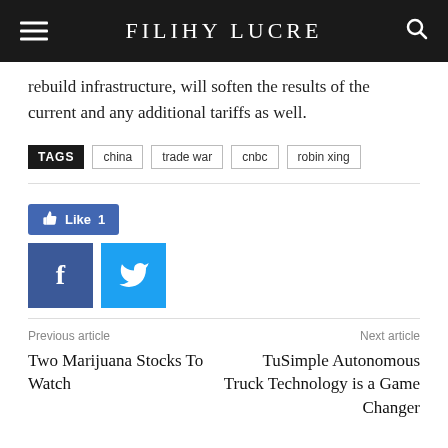FILIHY LUCRE
rebuild infrastructure, will soften the results of the current and any additional tariffs as well.
TAGS  china  trade war  cnbc  robin xing
[Figure (other): Facebook Like button showing Like 1, and social sharing buttons for Facebook and Twitter]
Previous article
Two Marijuana Stocks To Watch
Next article
TuSimple Autonomous Truck Technology is a Game Changer